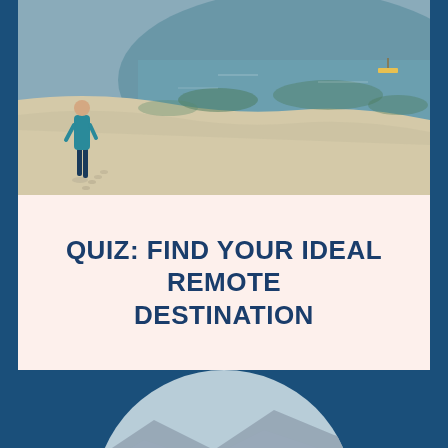[Figure (photo): A person walking along a sandy beach with shallow turquoise-green water, viewed from behind. The person is wearing a teal/blue top and dark shorts.]
QUIZ: FIND YOUR IDEAL REMOTE DESTINATION
[Figure (photo): A circular-cropped aerial or elevated view of a coastal Mediterranean town with white and colorful buildings, a harbor with water, and mountains in the background.]